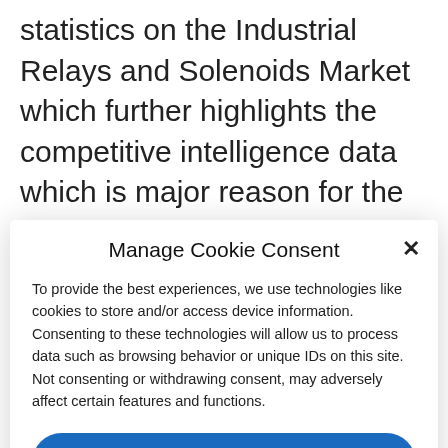statistics on the Industrial Relays and Solenoids Market which further highlights the competitive intelligence data which is major reason for the growing demand for the Relays and Solenoids Market industrial solenoids. Further, the study sheds light on Industrial Relays and Solenoids industry drivers, threats, region segmentation, major
Manage Cookie Consent
To provide the best experiences, we use technologies like cookies to store and/or access device information. Consenting to these technologies will allow us to process data such as browsing behavior or unique IDs on this site. Not consenting or withdrawing consent, may adversely affect certain features and functions.
Accept
Cookie Policy